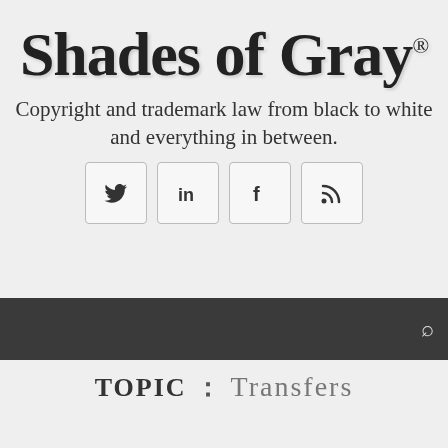Shades of Gray®
Copyright and trademark law from black to white and everything in between.
[Figure (other): Social media icon buttons: Twitter, LinkedIn, Facebook, RSS feed]
[Figure (other): Dark navigation bar with search icon]
TOPIC : Transfers